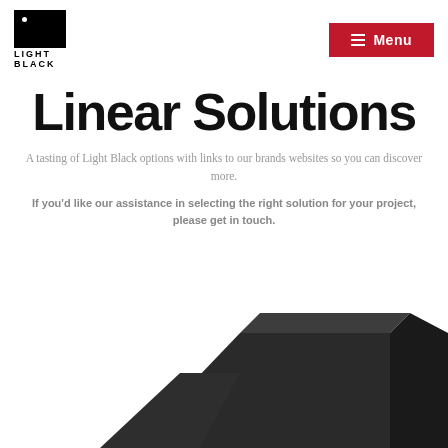[Figure (logo): Light Black logo — black rectangle with white dot, text LIGHT BLACK below]
[Figure (screenshot): Red menu button with hamburger icon and text Menu]
Linear Solutions
A tasting of Light Black options with links to our brands websites so you can discover more.
If you'd like our assistance in selecting the right solution for your project, please get in touch.
[Figure (photo): Dark charcoal/black angular linear lighting fixture photographed from below against white background]